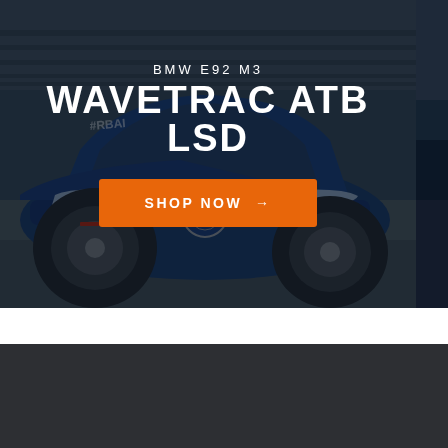[Figure (photo): Hero banner showing a blue Volkswagen Golf on a race track with overlay text. Partially visible second car image on the right edge.]
BMW E92 M3
WAVETRAC ATB LSD
SHOP NOW →
Helpful links
Information